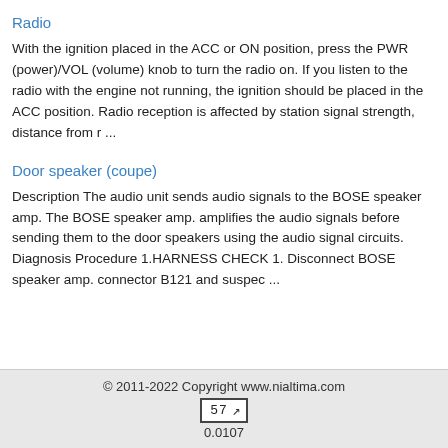Radio
With the ignition placed in the ACC or ON position, press the PWR (power)/VOL (volume) knob to turn the radio on. If you listen to the radio with the engine not running, the ignition should be placed in the ACC position. Radio reception is affected by station signal strength, distance from r ...
Door speaker (coupe)
Description The audio unit sends audio signals to the BOSE speaker amp. The BOSE speaker amp. amplifies the audio signals before sending them to the door speakers using the audio signal circuits. Diagnosis Procedure 1.HARNESS CHECK 1. Disconnect BOSE speaker amp. connector B121 and suspec ...
© 2011-2022 Copyright www.nialtima.com
57
0.0107